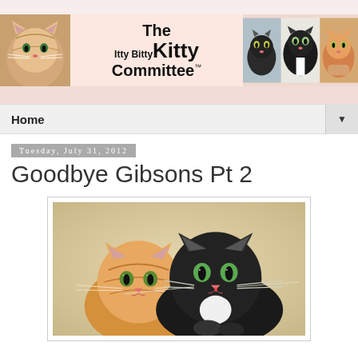[Figure (photo): The Itty Bitty Kitty Committee website banner with logo and kitten photos]
Home
Tuesday, July 31, 2012
Goodbye Gibsons Pt 2
[Figure (photo): Two kittens cuddled together — an orange tabby and a black kitten with white markings]